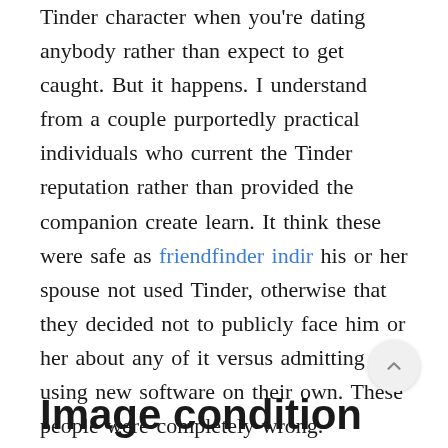Tinder character when you're dating anybody rather than expect to get caught. But it happens. I understand from a couple purportedly practical individuals who current the Tinder reputation rather than provided the companion create learn. It think these were safe as friendfinder indir his or her spouse not used Tinder, otherwise that they decided not to publicly face him or her about any of it versus admitting to using new software on their own. These people were completely wrong.
Image condition